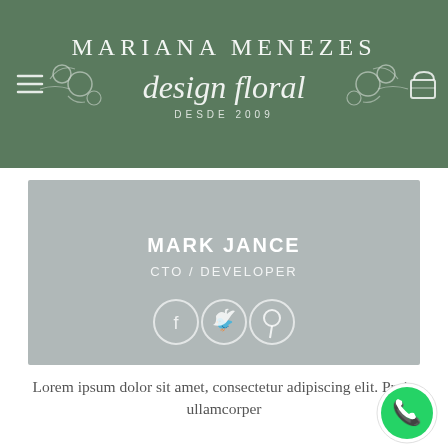[Figure (logo): Mariana Menezes design floral logo with floral decorations on green background, DESDE 2009]
[Figure (infographic): Profile card with name MARK JANCE, title CTO / DEVELOPER, and three social media icons (Facebook, Twitter, Pinterest) on gray background]
Lorem ipsum dolor sit amet, consectetur adipiscing elit. Proin ullamcorper
OVERLAY CIRCLE
[Figure (illustration): Gray semicircle shape at bottom of page representing a profile photo overlay circle]
[Figure (logo): WhatsApp icon button in bottom right corner]